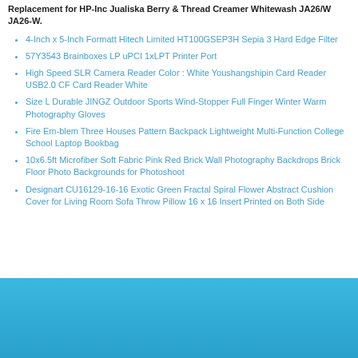Replacement for HP-Inc Jualiska Berry & Thread Creamer Whitewash JA26/W JA26-W.
4-Inch x 5-Inch Formatt Hitech Limited HT100GSEP3H Sepia 3 Hard Edge Filter
57Y3543 Brainboxes LP uPCI 1xLPT Printer Port
High Speed SLR Camera Reader Color : White Youshangshipin Card Reader USB2.0 CF Card Reader White
Size L Durable JINGZ Outdoor Sports Wind-Stopper Full Finger Winter Warm Photography Gloves
Fire Em-blem Three Houses Pattern Backpack Lightweight Multi-Function College School Laptop Bookbag
10x6.5ft Microfiber Soft Fabric Pink Red Brick Wall Photography Backdrops Brick Floor Photo Backgrounds for Photoshoot
Designart CU16129-16-16 Exotic Green Fractal Spiral Flower Abstract Cushion Cover for Living Room Sofa Throw Pillow 16 x 16 Insert Printed on Both Side